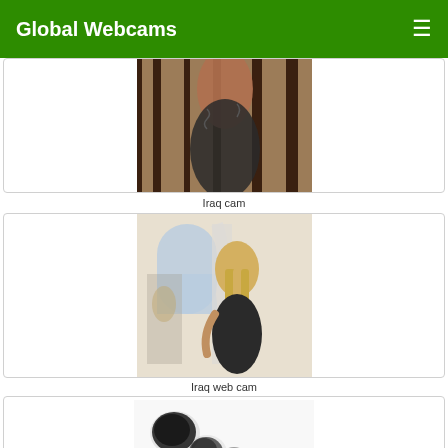Global Webcams
[Figure (photo): Partial view of a person - bottom portion of card 1 visible]
Iraq cam
[Figure (photo): Blonde woman in dark outfit posing in front of a mirror]
Iraq web cam
[Figure (photo): Blurred/censored image with dark blobs]
Iraq web cams